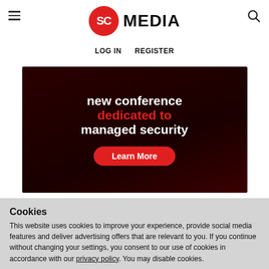SC MEDIA | LOG IN  REGISTER
[Figure (infographic): Dark red banner advertisement for a conference dedicated to managed security with 'Learn More' button. Text reads: 'new conference dedicated to managed security']
Cookies
This website uses cookies to improve your experience, provide social media features and deliver advertising offers that are relevant to you. If you continue without changing your settings, you consent to our use of cookies in accordance with our privacy policy. You may disable cookies.
Accept Cookies